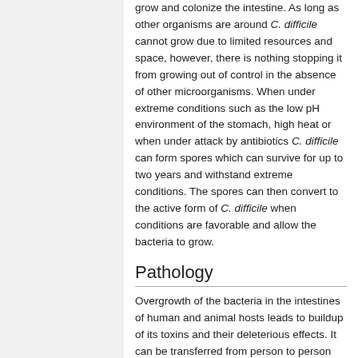grow and colonize the intestine. As long as other organisms are around C. difficile cannot grow due to limited resources and space, however, there is nothing stopping it from growing out of control in the absence of other microorganisms. When under extreme conditions such as the low pH environment of the stomach, high heat or when under attack by antibiotics C. difficile can form spores which can survive for up to two years and withstand extreme conditions. The spores can then convert to the active form of C. difficile when conditions are favorable and allow the bacteria to grow.
Pathology
Overgrowth of the bacteria in the intestines of human and animal hosts leads to buildup of its toxins and their deleterious effects. It can be transferred from person to person through the fecal-oral route. Most often C. difficile is acquired nosocomially (contracted secondary to being hospitalized). C. difficile produces two